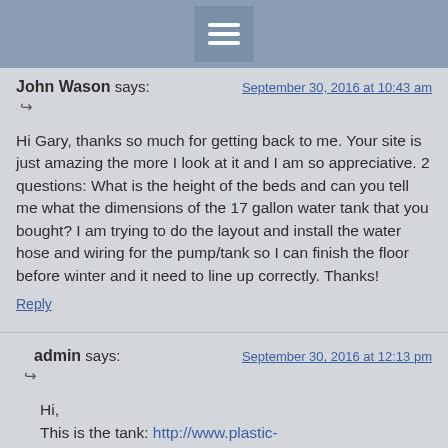≡ (hamburger menu)
John Wason says: September 30, 2016 at 10:43 am
Hi Gary, thanks so much for getting back to me. Your site is just amazing the more I look at it and I am so appreciative. 2 questions: What is the height of the beds and can you tell me what the dimensions of the 17 gallon water tank that you bought? I am trying to do the layout and install the water hose and wiring for the pump/tank so I can finish the floor before winter and it need to line up correctly. Thanks!
Reply
admin says: September 30, 2016 at 12:13 pm
Hi,
This is the tank: http://www.plastic-